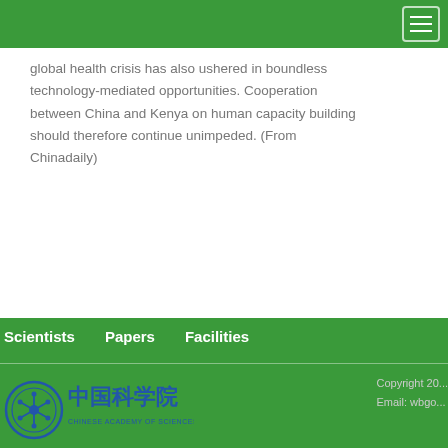global health crisis has also ushered in boundless technology-mediated opportunities. Cooperation between China and Kenya on human capacity building should therefore continue unimpeded. (From Chinadaily)
Scientists   Papers   Facilities
[Figure (logo): Chinese Academy of Sciences logo with circular emblem and Chinese/English text]
Copyright 20...
Email: wbgo...